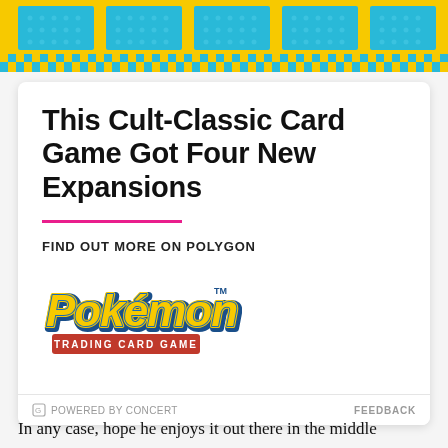[Figure (illustration): Checkerboard banner with yellow and cyan/blue squares pattern at the top of the page]
This Cult-Classic Card Game Got Four New Expansions
FIND OUT MORE ON POLYGON
[Figure (logo): Pokémon Trading Card Game logo — yellow bubble letters 'Pokémon' with blue outline and red banner reading 'TRADING CARD GAME']
POWERED BY CONCERT   FEEDBACK
In any case, hope he enjoys it out there in the middle